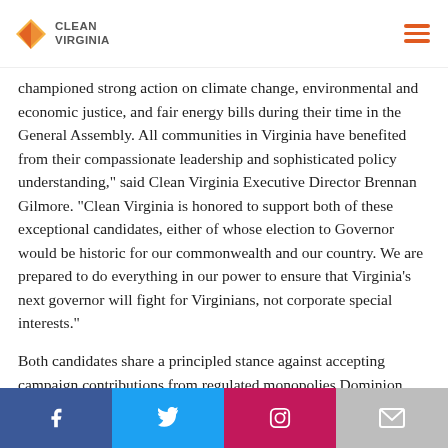CLEAN VIRGINIA
championed strong action on climate change, environmental and economic justice, and fair energy bills during their time in the General Assembly. All communities in Virginia have benefited from their compassionate leadership and sophisticated policy understanding," said Clean Virginia Executive Director Brennan Gilmore. "Clean Virginia is honored to support both of these exceptional candidates, either of whose election to Governor would be historic for our commonwealth and our country. We are prepared to do everything in our power to ensure that Virginia's next governor will fight for Virginians, not corporate special interests."
Both candidates share a principled stance against accepting campaign contributions from regulated monopolies Dominion Energy and Appalachian Power, including their employed registered lobbyists, and do not
Facebook | Twitter | Instagram | Email